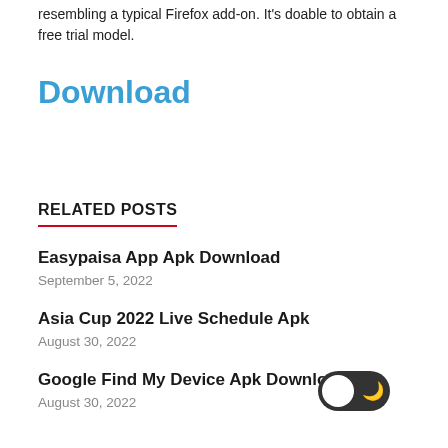resembling a typical Firefox add-on. It's doable to obtain a free trial model.
Download
RELATED POSTS
Easypaisa App Apk Download
September 5, 2022
Asia Cup 2022 Live Schedule Apk
August 30, 2022
Google Find My Device Apk Download
August 30, 2022